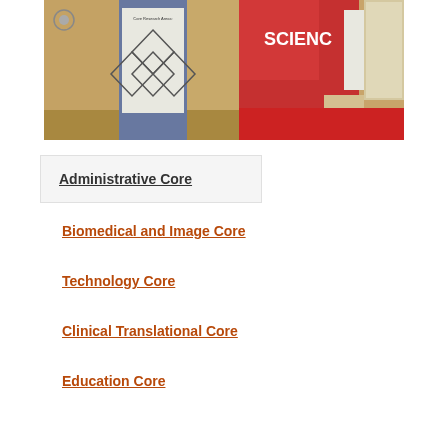[Figure (photo): Conference room photo showing research banners including one with a diamond diagram labeled with Core Research Areas (Clinically Translational, Education, Technology, Biomedical & Imaging) and another banner reading SCIENCE with red background]
Administrative Core
Biomedical and Image Core
Technology Core
Clinical Translational Core
Education Core